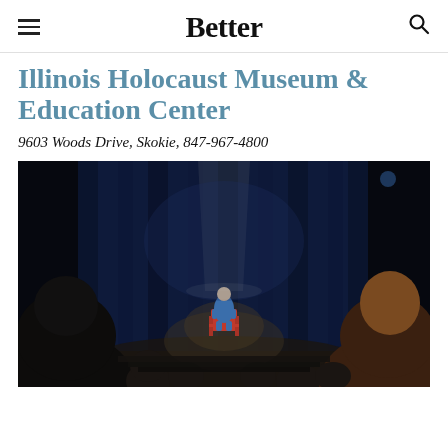Better
Illinois Holocaust Museum & Education Center
9603 Woods Drive, Skokie, 847-967-4800
[Figure (photo): A person dressed in blue sits on a red chair on a stage in front of a blue curtain, illuminated by a spotlight, while audience members are silhouetted in the foreground.]